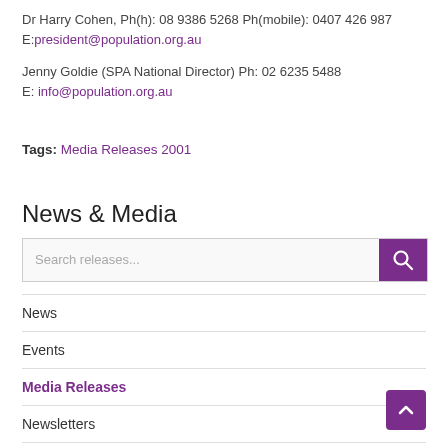Dr Harry Cohen, Ph(h): 08 9386 5268 Ph(mobile): 0407 426 987  E:president@population.org.au
Jenny Goldie (SPA National Director) Ph: 02 6235 5488 E: info@population.org.au
Tags: Media Releases 2001
News & Media
Search releases...
News
Events
Media Releases
Newsletters
Videos